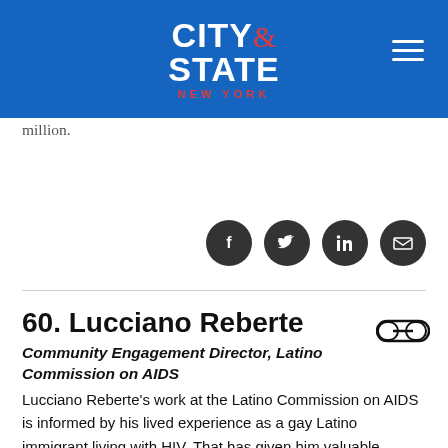[Figure (logo): City & State New York logo in white and red on blue background with hamburger menu icon]
million.
[Figure (infographic): Social media sharing icons: Facebook, Twitter, LinkedIn, Email]
60. Lucciano Reberte
Community Engagement Director, Latino Commission on AIDS
Lucciano Reberte's work at the Latino Commission on AIDS is informed by his lived experience as a gay Latino immigrant living with HIV. That has given him valuable insight into understanding the barriers